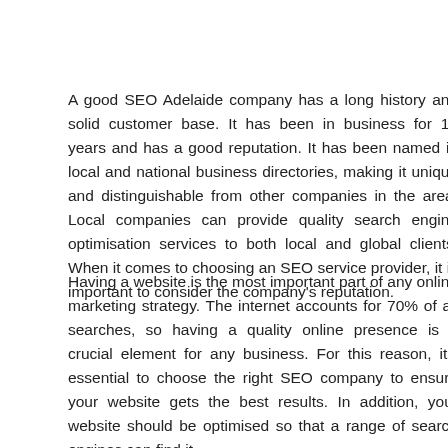A good SEO Adelaide company has a long history and solid customer base. It has been in business for 15 years and has a good reputation. It has been named in local and national business directories, making it unique and distinguishable from other companies in the area. Local companies can provide quality search engine optimisation services to both local and global clients. When it comes to choosing an SEO service provider, it is important to consider the company's reputation.
Having a website is the most important part of any online marketing strategy. The internet accounts for 70% of all searches, so having a quality online presence is a crucial element for any business. For this reason, it's essential to choose the right SEO company to ensure your website gets the best results. In addition, your website should be optimised so that a range of search engines can find it.